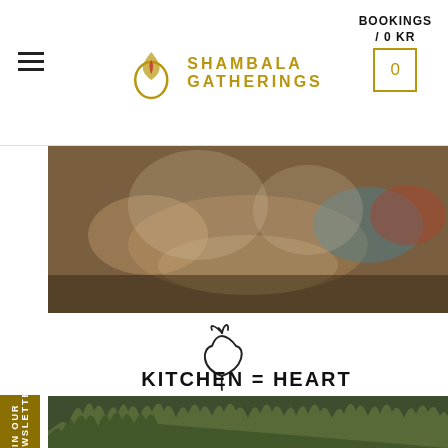SHAMBALA GATHERINGS  BOOKINGS / 0 KR
[Figure (photo): People sharing food at a table, hands reaching for dishes, colorful bowls visible]
[Figure (illustration): Simple line drawing icon of a beet or turnip vegetable]
KITCHEN = HEART
The kitchen is the heart of Shambala. We just love to make delicious vegetarian and vegan food for you. We not only use the best possible ingredients, but we also take care of food
[Figure (photo): Forest treeline landscape photo at bottom of page]
JOIN OUR NEWSLETTER